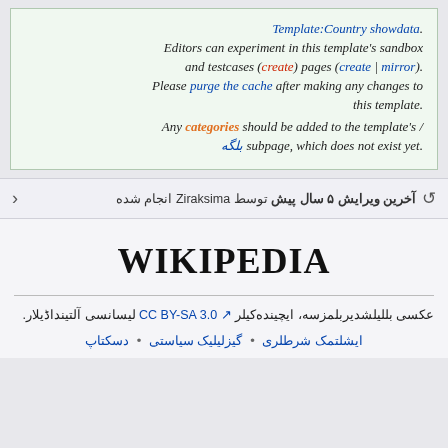.Template:Country showdata Editors can experiment in this template's sandbox .(create | mirror) and testcases (create) pages Please purge the cache after making any changes to .this template / Any categories should be added to the template's .subpage, which does not exist yet بلگه
آخرین ویرایش ۵ سال پیش توسط Ziraksima انجام شده
[Figure (logo): Wikipedia logo text in serif font]
عکسی بللیلشدیربلمزسه، ایچینده‌کیلر CC BY-SA 3.0 لیسانسی آلتینداڈیلار.
ایشلتمک شرطلری • گیزلیلیک سیاستی • دسکتاپ